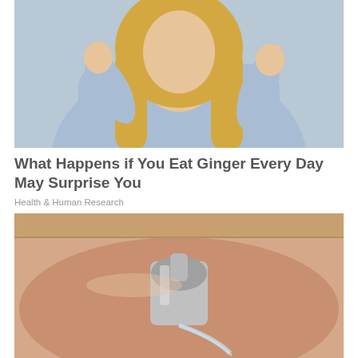[Figure (photo): Woman with long blonde hair wearing a light blue knit sweater, holding something small near her mouth with one hand, giving a thumbs up with the other hand, against a light gray background.]
What Happens if You Eat Ginger Every Day May Surprise You
Health & Human Research
[Figure (photo): Close-up of a chrome bathroom faucet on a pink/beige sink with water flowing.]